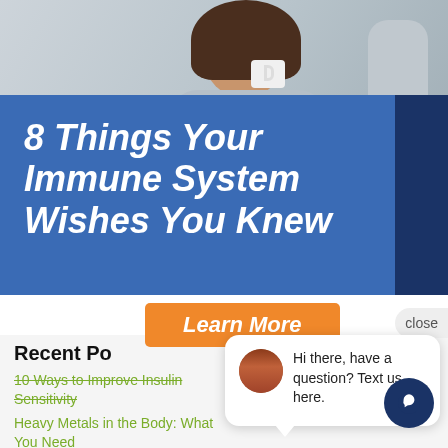[Figure (photo): Person holding a white mug, photo background at top of page]
8 Things Your Immune System Wishes You Knew
[Figure (other): Orange 'Learn More' button on blue banner]
[Figure (other): Close button (pill-shaped) at upper right]
[Figure (other): Chat bubble popup with avatar and message: Hi there, have a question? Text us here.]
Recent Po
10 Ways to Improve Insulin Sensitivity
Heavy Metals in the Body: What You Need to Know
Mushrooms: The Underrated Superfood